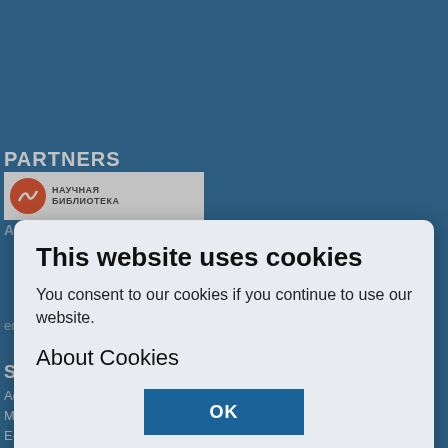PARTNERS
[Figure (logo): Научная Библиотека logo with orange circle and Russian text]
ARTICLE Search
Terms & Conditions
This website uses cookies
You consent to our cookies if you continue to use our website.
About Cookies
OK
SUPPORT
Address: of. 825, 10/2 Miklukho-Maklaya street,
Moscow, 117198, Russian Federation.
E-mail: journals@rudn.ru